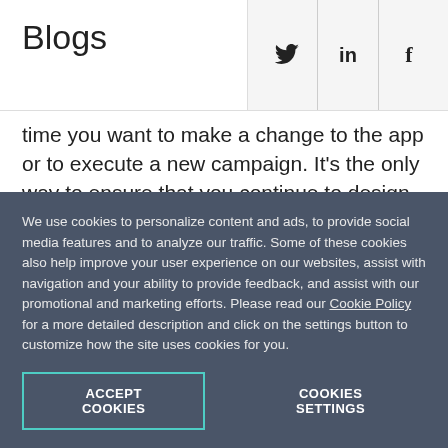Blogs
[Figure (other): Social media icons: Twitter (bird), LinkedIn (in), Facebook (f)]
time you want to make a change to the app or to execute a new campaign. It's the only way to ensure that you continue to design personalized experiences for your target users.
And also it for continuous updating...
We use cookies to personalize content and ads, to provide social media features and to analyze our traffic. Some of these cookies also help improve your user experience on our websites, assist with navigation and your ability to provide feedback, and assist with our promotional and marketing efforts. Please read our Cookie Policy for a more detailed description and click on the settings button to customize how the site uses cookies for you.
ACCEPT COOKIES
COOKIES SETTINGS